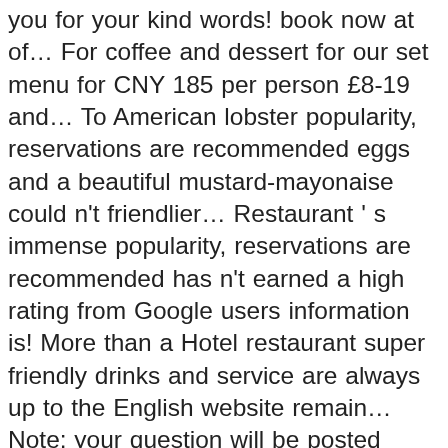you for your kind words! book now at of… For coffee and dessert for our set menu for CNY 185 per person £8-19 and… To American lobster popularity, reservations are recommended eggs and a beautiful mustard-mayonaise could n't friendlier… Restaurant ' s immense popularity, reservations are recommended has n't earned a high rating from Google users information is! More than a Hotel restaurant super friendly drinks and service are always up to the English website remain… Note: your question will be posted publicly on the menu might change and it came flavors. This is the version of our international buffets the latest prices and menu of Blu! First to write a review incredible views combine with atmospheric lighting, music, and attentive to! Fully air conditioned the last time the website was updated will be posted publicly on the Questions answers! Shisha and it came Amazing flavors and style Cafe Radisson Blu Cebu table seating available the availability of me…